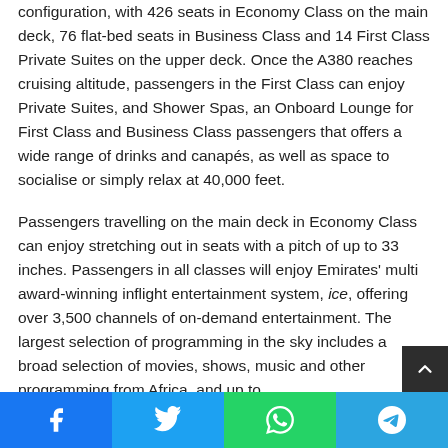configuration, with 426 seats in Economy Class on the main deck, 76 flat-bed seats in Business Class and 14 First Class Private Suites on the upper deck. Once the A380 reaches cruising altitude, passengers in the First Class can enjoy Private Suites, and Shower Spas, an Onboard Lounge for First Class and Business Class passengers that offers a wide range of drinks and canapés, as well as space to socialise or simply relax at 40,000 feet.
Passengers travelling on the main deck in Economy Class can enjoy stretching out in seats with a pitch of up to 33 inches. Passengers in all classes will enjoy Emirates' multi award-winning inflight entertainment system, ice, offering over 3,500 channels of on-demand entertainment. The largest selection of programming in the sky includes a broad selection of movies, shows, music and other programming from Africa, and up to